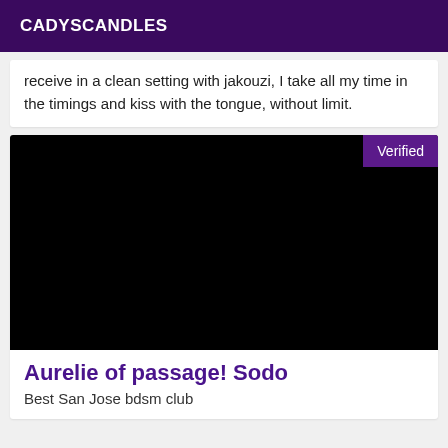CADYSCANDLES
receive in a clean setting with jakouzi, I take all my time in the timings and kiss with the tongue, without limit.
[Figure (photo): Black image with a purple 'Verified' badge in the top right corner]
Aurelie of passage! Sodo
Best San Jose bdsm club